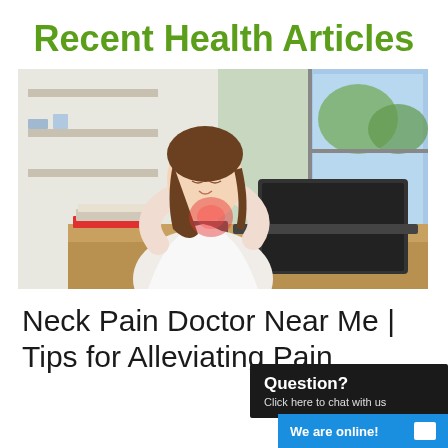Recent Health Articles
[Figure (photo): A woman in a white shirt sitting at a desk with a laptop, leaning back and holding her neck with both hands, with a red glow indicating neck pain. Office setting with bookshelves and large windows in background.]
Neck Pain Doctor Near Me | Tips for Alleviating Pain
Question? Click here to chat with us
We are online!